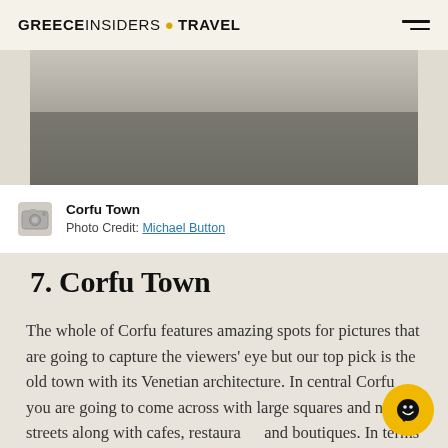GREECEINSIDERS.TRAVEL
[Figure (photo): Corfu Town street scene with people walking on paved square]
Corfu Town
Photo Credit: Michael Button
7. Corfu Town
The whole of Corfu features amazing spots for pictures that are going to capture the viewers' eye but our top pick is the old town with its Venetian architecture. In central Corfu you are going to come across with large squares and narrow streets along with cafes, restaurants and boutiques. In terms of when you should visit, spring is ideal but Easter in Corfu is